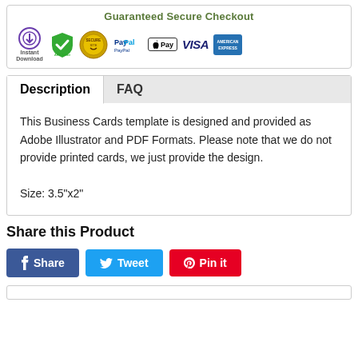[Figure (infographic): Guaranteed Secure Checkout banner with payment icons: Instant Download, green checkmark shield, Secure Site seal, PayPal, Apple Pay, Visa, American Express]
Description	FAQ
This Business Cards template is designed and provided as Adobe Illustrator and PDF Formats. Please note that we do not provide printed cards, we just provide the design.

Size: 3.5"x2"
Share this Product
Share  Tweet  Pin it